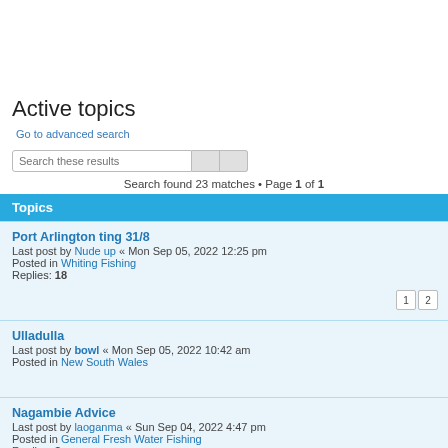Active topics
Go to advanced search
Search these results
Search found 23 matches • Page 1 of 1
Topics
Port Arlington ting 31/8
Last post by Nude up « Mon Sep 05, 2022 12:25 pm
Posted in Whiting Fishing
Replies: 18
Ulladulla
Last post by bowl « Mon Sep 05, 2022 10:42 am
Posted in New South Wales
Nagambie Advice
Last post by laoganma « Sun Sep 04, 2022 4:47 pm
Posted in General Fresh Water Fishing
Replies: 8
Bulldog foldable trailer for 4.2m inflatable boat?
Last post by HK_Freedom « Sat Sep 03, 2022 12:08 pm
Posted in Boating